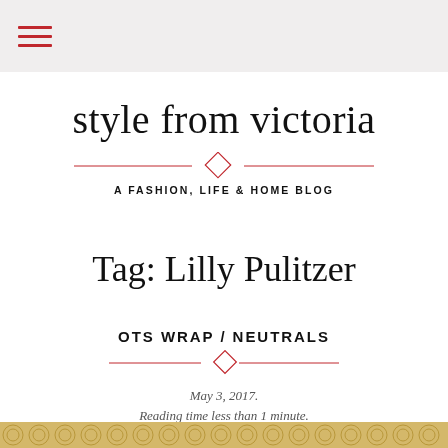☰ (hamburger menu icon)
style from victoria
A FASHION, LIFE & HOME BLOG
Tag: Lilly Pulitzer
OTS WRAP / NEUTRALS
May 3, 2017.
Reading time less than 1 minute.
[Figure (photo): Decorative patterned textile or wallpaper with golden/tan floral geometric pattern visible at the bottom of the page]